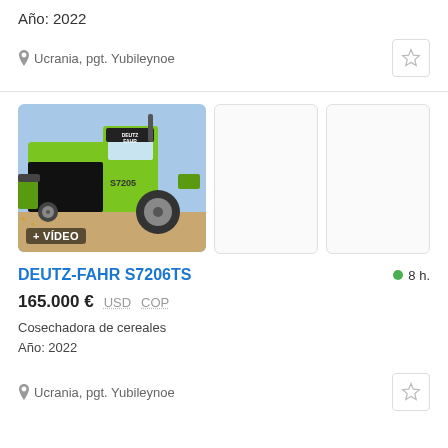Año: 2022
Ucrania, pgt. Yubileynoe
[Figure (photo): Green Deutz-Fahr S7206TS combine harvester with video badge]
+ VÍDEO
DEUTZ-FAHR S7206TS
8 h.
165.000 € USD COP
Cosechadora de cereales
Año: 2022
Ucrania, pgt. Yubileynoe